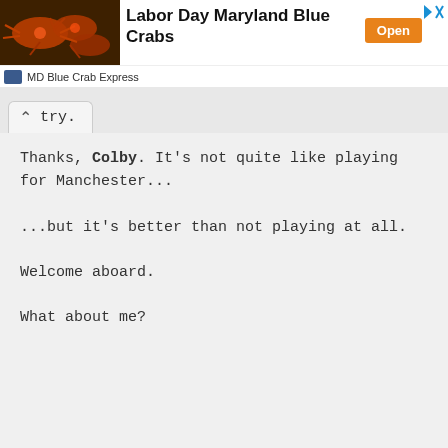[Figure (infographic): Advertisement banner for 'Labor Day Maryland Blue Crabs' by MD Blue Crab Express, showing a photo of crabs, an orange 'Open' button, and navigation icons.]
try.
Thanks, Colby. It's not quite like playing for Manchester...
...but it's better than not playing at all.
Welcome aboard.
What about me?